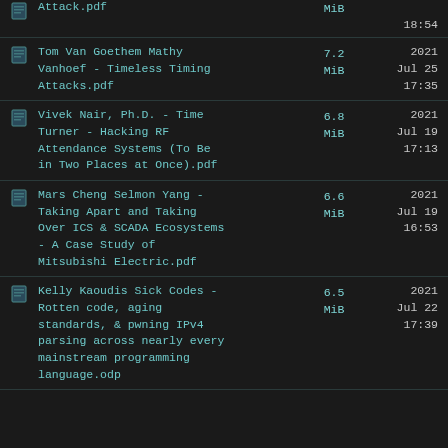Attack.pdf | MiB | 18:54
Tom Van Goethem Mathy Vanhoef - Timeless Timing Attacks.pdf | 7.2 MiB | 2021 Jul 25 17:35
Vivek Nair, Ph.D. - Time Turner - Hacking RF Attendance Systems (To Be in Two Places at Once).pdf | 6.8 MiB | 2021 Jul 19 17:13
Mars Cheng Selmon Yang - Taking Apart and Taking Over ICS & SCADA Ecosystems - A Case Study of Mitsubishi Electric.pdf | 6.6 MiB | 2021 Jul 19 16:53
Kelly Kaoudis Sick Codes - Rotten code, aging standards, & pwning IPv4 parsing across nearly every mainstream programming language.odp | 6.5 MiB | 2021 Jul 22 17:39